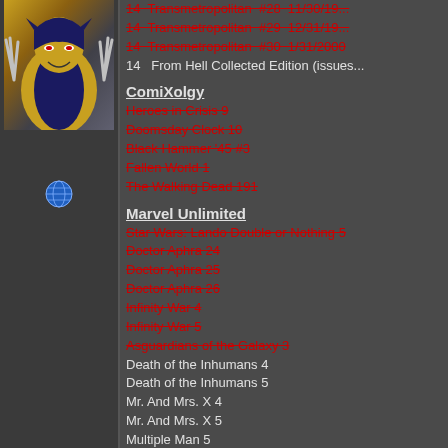[Figure (illustration): Wolverine comic character illustration with claws extended, yellow and blue costume]
[Figure (illustration): Globe/internet icon]
14  Transmetropolitan #28  11/30/19... (strikethrough)
14  Transmetropolitan #29  12/31/19... (strikethrough)
14  Transmetropolitan #30  1/31/2000 (strikethrough)
14   From Hell Collected Edition (issues...
ComiXolgy
Heroes in Crisis 9 (strikethrough)
Doomsday Clock 10 (strikethrough)
Black Hammer '45 #3 (strikethrough)
Fallen World 1 (strikethrough)
The Walking Dead 191 (strikethrough)
Marvel Unlimited
Star Wars: Lando Double or Nothing 5 (strikethrough)
Doctor Aphra 24 (strikethrough)
Doctor Aphra 25 (strikethrough)
Doctor Aphra 26 (strikethrough)
Infinity War 4 (strikethrough)
Infinity War 5 (strikethrough)
Asguardians of the Galaxy 3 (strikethrough)
Death of the Inhumans 4
Death of the Inhumans 5
Mr. And Mrs. X 4
Mr. And Mrs. X 5
Multiple Man 5
===========================================